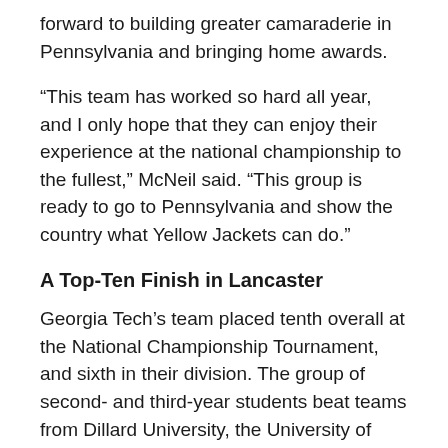forward to building greater camaraderie in Pennsylvania and bringing home awards.
“This team has worked so hard all year, and I only hope that they can enjoy their experience at the national championship to the fullest,” McNeil said. “This group is ready to go to Pennsylvania and show the country what Yellow Jackets can do.”
A Top-Ten Finish in Lancaster
Georgia Tech’s team placed tenth overall at the National Championship Tournament, and sixth in their division. The group of second- and third-year students beat teams from Dillard University, the University of Texas, and Stanford University. Their only loss of the tournament was to the University of Chicago, who ultimately competed in the final round.
Georgia Tech Mock Trial also took home three All-